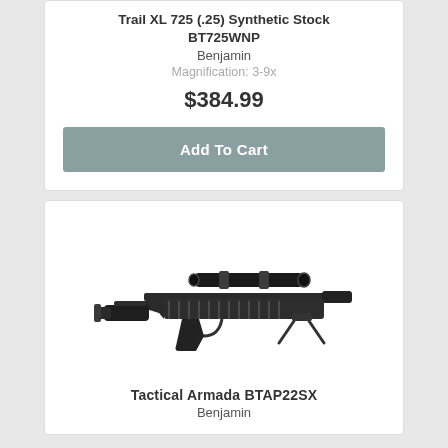Trail XL 725 (.25) Synthetic Stock BT725WNP
Benjamin
Magnification: 3-9x
$384.99
Add To Cart
[Figure (photo): Tactical air rifle with scope and bipod, side view]
Tactical Armada BTAP22SX
Benjamin